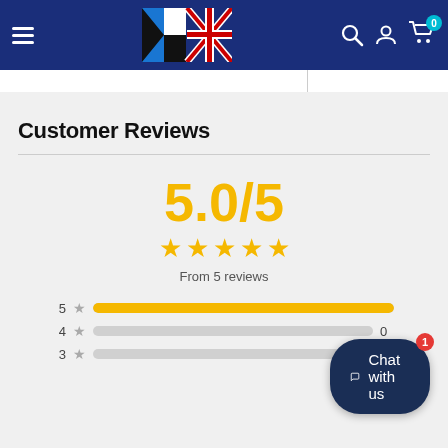[Figure (logo): Website navigation bar with hamburger menu, UK brand logo (puzzle piece with Union Jack), search icon, user icon, and cart icon with badge showing 0]
Customer Reviews
[Figure (infographic): Rating summary showing 5.0/5 score in gold, five gold stars, 'From 5 reviews' text, and horizontal bar chart showing star distribution: 5 stars full bar, 4 stars empty bar (0), 3 stars empty bar (0)]
[Figure (other): Chat with us button with badge showing 1]